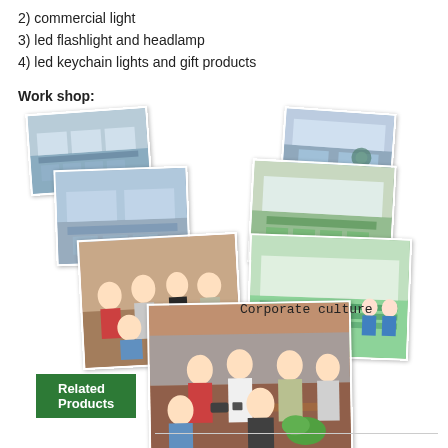2) commercial light
3) led flashlight and headlamp
4) led keychain lights and gift products
Work shop:
[Figure (photo): Collage of 7 factory/workshop and corporate culture photos arranged in a V-shape pattern, with a 'Corporate culture' text label in the center]
Related Products